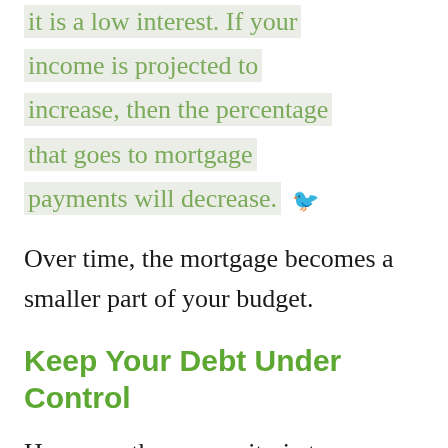it is a low interest. If your income is projected to increase, then the percentage that goes to mortgage payments will decrease.
Over time, the mortgage becomes a smaller part of your budget.
Keep Your Debt Under Control
However, there are criteria to